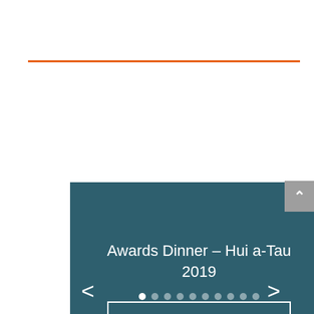[Figure (screenshot): Orange horizontal rule decorative line]
[Figure (screenshot): Slideshow widget with dark teal background showing 'Awards Dinner – Hui a-Tau 2019' title, navigation arrows (< >), a 'View Photo Gallery' button, and dot pagination indicators at bottom. A grey scroll-up button appears at right edge.]